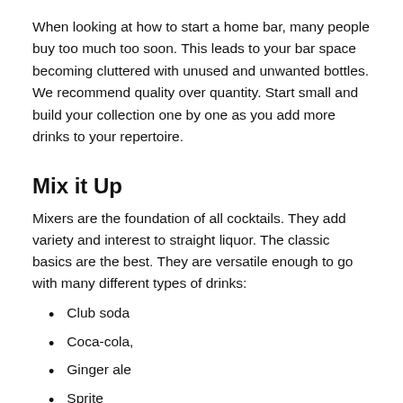When looking at how to start a home bar, many people buy too much too soon. This leads to your bar space becoming cluttered with unused and unwanted bottles. We recommend quality over quantity. Start small and build your collection one by one as you add more drinks to your repertoire.
Mix it Up
Mixers are the foundation of all cocktails. They add variety and interest to straight liquor. The classic basics are the best. They are versatile enough to go with many different types of drinks:
Club soda
Coca-cola,
Ginger ale
Sprite
Tonic water